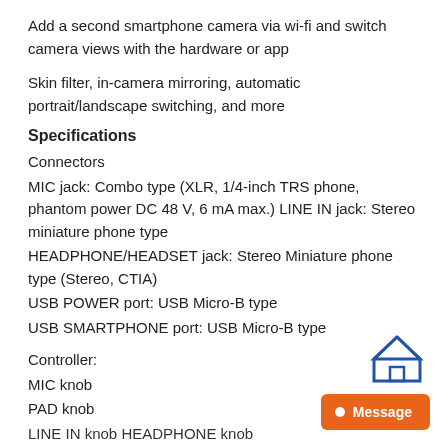Add a second smartphone camera via wi-fi and switch camera views with the hardware or app
Skin filter, in-camera mirroring, automatic portrait/landscape switching, and more
Specifications
Connectors
MIC jack: Combo type (XLR, 1/4-inch TRS phone, phantom power DC 48 V, 6 mA max.) LINE IN jack: Stereo miniature phone type
HEADPHONE/HEADSET jack: Stereo Miniature phone type (Stereo, CTIA)
USB POWER port: USB Micro-B type
USB SMARTPHONE port: USB Micro-B type
Controller:
MIC knob
PAD knob
LINE IN knob HEADPHONE knob